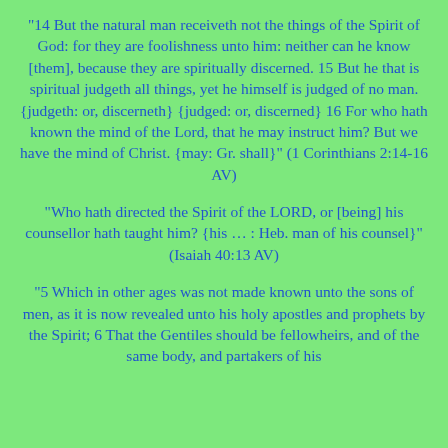“14 But the natural man receiveth not the things of the Spirit of God: for they are foolishness unto him: neither can he know [them], because they are spiritually discerned. 15 But he that is spiritual judgeth all things, yet he himself is judged of no man. {judgeth: or, discerneth} {judged: or, discerned} 16 For who hath known the mind of the Lord, that he may instruct him? But we have the mind of Christ. {may: Gr. shall}” (1 Corinthians 2:14-16 AV)
“Who hath directed the Spirit of the LORD, or [being] his counsellor hath taught him? {his … : Heb. man of his counsel}” (Isaiah 40:13 AV)
“5 Which in other ages was not made known unto the sons of men, as it is now revealed unto his holy apostles and prophets by the Spirit; 6 That the Gentiles should be fellowheirs, and of the same body, and partakers of his